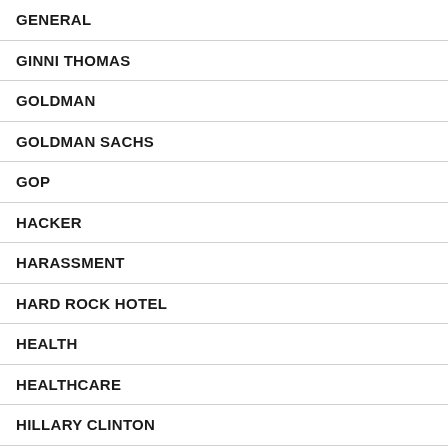GENERAL
GINNI THOMAS
GOLDMAN
GOLDMAN SACHS
GOP
HACKER
HARASSMENT
HARD ROCK HOTEL
HEALTH
HEALTHCARE
HILLARY CLINTON
HOLLYWOOD